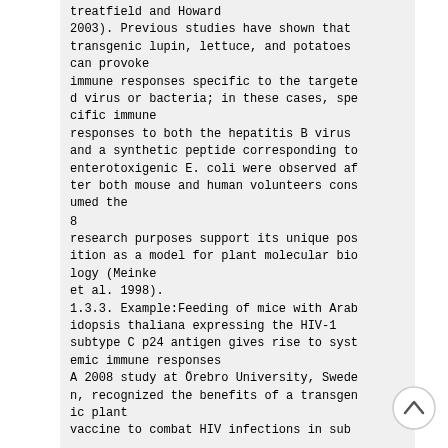treatfield and Howard
2003). Previous studies have shown that transgenic lupin, lettuce, and potatoes can provoke
immune responses specific to the targeted virus or bacteria; in these cases, specific immune
responses to both the hepatitis B virus and a synthetic peptide corresponding to enterotoxigenic E. coli were observed after both mouse and human volunteers consumed the
8
research purposes support its unique position as a model for plant molecular biology (Meinke
et al. 1998).
1.3.3. Example:Feeding of mice with Arabidopsis thaliana expressing the HIV-1 subtype C p24 antigen gives rise to systemic immune responses
A 2008 study at Örebro University, Sweden, recognized the benefits of a transgenic plant
vaccine to combat HIV infections in sub
[Figure (other): Scroll-to-top button: a circle with an upward-pointing chevron arrow icon]